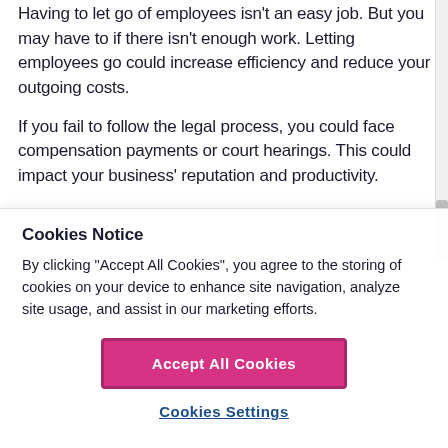Having to let go of employees isn't an easy job. But you may have to if there isn't enough work. Letting employees go could increase efficiency and reduce your outgoing costs.
If you fail to follow the legal process, you could face compensation payments or court hearings. This could impact your business' reputation and productivity.
Cookies Notice
By clicking "Accept All Cookies", you agree to the storing of cookies on your device to enhance site navigation, analyze site usage, and assist in our marketing efforts.
Accept All Cookies
Cookies Settings